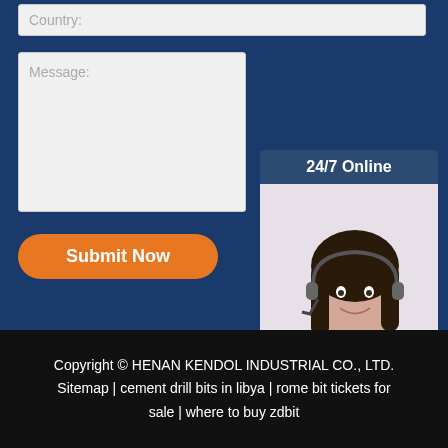Country:
Message:
Submit Now
[Figure (photo): 24/7 Online chat widget with a smiling woman wearing a headset, with 'Click here for free chat!' text and 'QUOTATION' button]
Copyright © HENAN KENDOL INDUSTRIAL CO., LTD. Sitemap | cement drill bits in libya | rome bit tickets for sale | where to buy zdbit